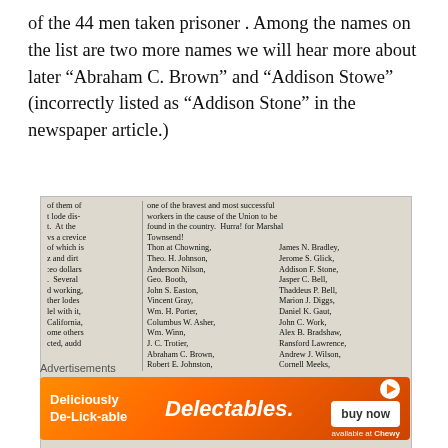of the 44 men taken prisoner . Among the names on the list are two more names we will hear more about later “Abraham C. Brown” and “Addison Stowe” (incorrectly listed as “Addison Stone” in the newspaper article.)
[Figure (photo): Scanned newspaper clipping showing two columns of text. Left column contains partial sentences about Union workers and mentions of lodges, California, and other fragments. Right column lists names including Thon at Chowning, James N. Bradley, Theo. H. Johnson, Jerome S. Glick, Anderson Nilson, Addison F. Stone, Geo. Booth, Jasper C. Bell, John S. Easton, Thaddeus P. Bell, Vincent Gray, Marion J. Diggs, Wm. H. Porter, Daniel K. Gaut, Columbus W. Asher, John C. Work, Wm. Winn, Alex B. Bradshaw, J. C. Trotier, Ransford Lawrence, Abraham C. Brown, Andrew J. Wilson, Robert E. Johnston, Cornell Meeks.]
Advertisements
[Figure (other): Advertisement banner for Delectables cat treats by Chewy. Orange gradient background with text 'Deliciously De-Lick-able', Delectables logo, and 'buy now' button.]